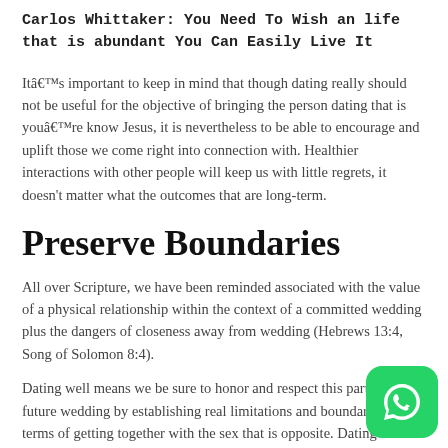Carlos Whittaker: You Need To Wish an life that is abundant You Can Easily Live It
Itâ€™s important to keep in mind that though dating really should not be useful for the objective of bringing the person dating that is youâ€™re know Jesus, it is nevertheless to be able to encourage and uplift those we come right into connection with. Healthier interactions with other people will keep us with little regrets, it doesn't matter what the outcomes that are long-term.
Preserve Boundaries
All over Scripture, we have been reminded associated with the value of a physical relationship within the context of a committed wedding plus the dangers of closeness away from wedding (Hebrews 13:4, Song of Solomon 8:4).
Dating well means we be sure to honor and respect this part of our future wedding by establishing real limitations and boundaries in terms of getting together with the sex that is opposite. Dating with wisdom means we also comprehend the need for psychological and religious boundaries by learning not